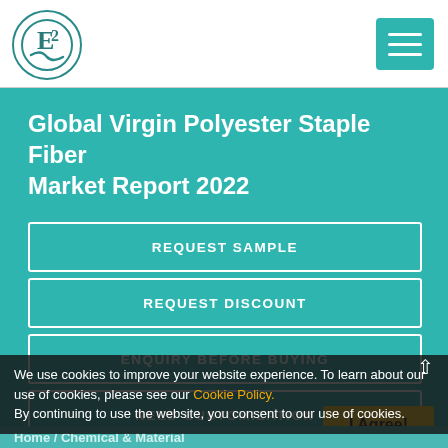[Figure (logo): Circular logo with letter E/2 design in teal, with wavy lines at bottom]
[Figure (other): Teal hamburger/menu button with three white horizontal lines]
Global Virgin Polyester Staple Fiber Market Report 2022
REQUEST SAMPLE
REQUEST DISCOUNT
ENQUIRY BEFORE BUYING
NEED CUSTOMIZATION
We use cookies to improve your website experience. To learn about our use of cookies, please see our Cookie Policy.
By continuing to use the website, you consent to our use of cookies.
I Agree!
Home / Chemical & Material